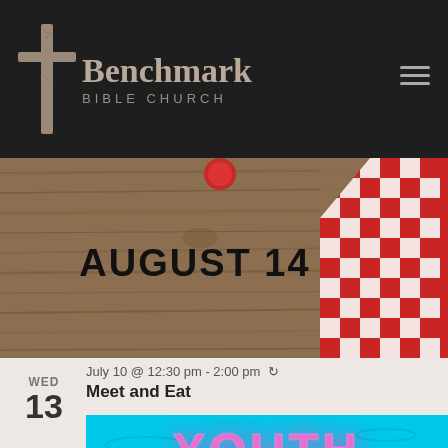[Figure (logo): Benchmark Bible Church logo with cross icon on dark background, hamburger menu icon on right]
[Figure (photo): Event banner image showing 'AUGUST 14' text on wood plank background with red and white checkered cloth on right side]
July 10 @ 12:30 pm - 2:00 pm 🔁
Meet and Eat
WED
13
[Figure (photo): Event banner image showing 'YOUTH' in pink neon text on aqua/teal water background]